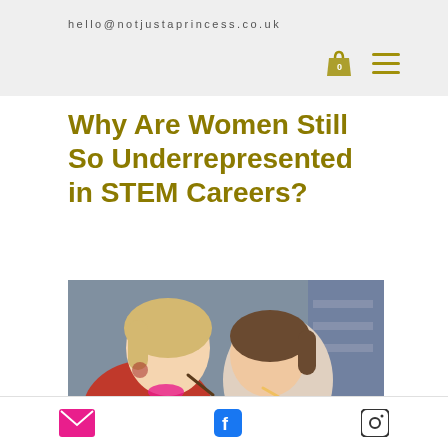hello@notjustaprincess.co.uk
Why Are Women Still So Underrepresented in STEM Careers?
[Figure (photo): Two young girls looking down, one in red jacket, focused on writing or drawing activity]
Social media icons: email, Facebook, Instagram